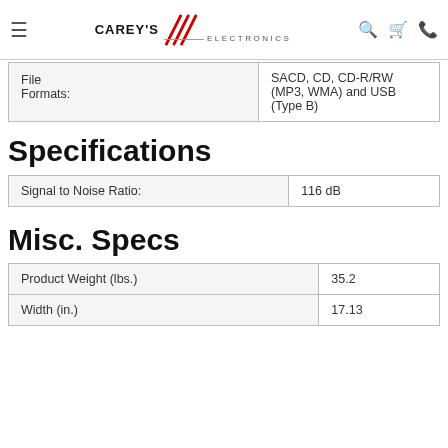Carey's Electronics
| File Formats: |  |
| --- | --- |
| File Formats: | SACD, CD, CD-R/RW (MP3, WMA) and USB (Type B) |
Specifications
| Signal to Noise Ratio: | 116 dB |
| --- | --- |
| Signal to Noise Ratio: | 116 dB |
Misc. Specs
| Product Weight (lbs.) | 35.2 | Width (in.) | 17.13 |
| --- | --- | --- | --- |
| Product Weight (lbs.) | 35.2 |
| Width (in.) | 17.13 |